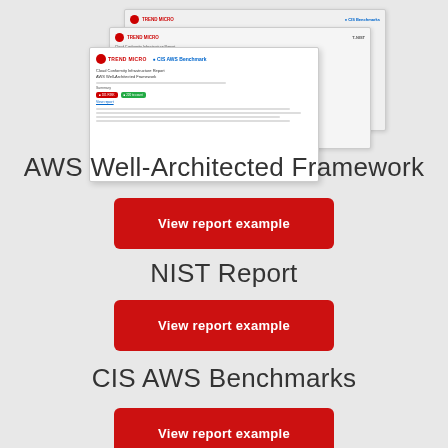[Figure (illustration): Stacked report document previews showing Trend Micro and CIS Benchmarks report covers]
AWS Well-Architected Framework
View report example
NIST Report
View report example
CIS AWS Benchmarks
View report example